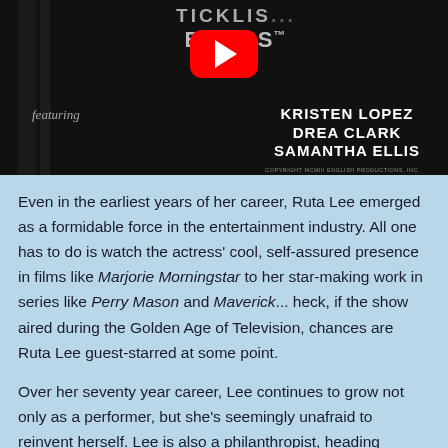[Figure (screenshot): YouTube video thumbnail showing a film title with 'TICKLIS... BUSINESS' text at top, a red YouTube play button in center, 'featuring' in italic script on left, and cast names KRISTEN LOPEZ, DREA CLARK, SAMANTHA ELLIS on the right, with copyright text at bottom.]
Even in the earliest years of her career, Ruta Lee emerged as a formidable force in the entertainment industry. All one has to do is watch the actress' cool, self-assured presence in films like Marjorie Morningstar to her star-making work in series like Perry Mason and Maverick... heck, if the show aired during the Golden Age of Television, chances are Ruta Lee guest-starred at some point.
Over her seventy year career, Lee continues to grow not only as a performer, but she's seemingly unafraid to reinvent herself. Lee is also a philanthropist, heading Hollywood non-profit, The Thalians, in their vital work with mental health and